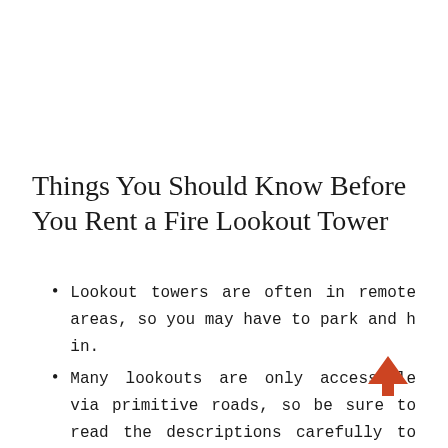Things You Should Know Before You Rent a Fire Lookout Tower
Lookout towers are often in remote areas, so you may have to park and h in.
Many lookouts are only accessible via primitive roads, so be sure to read the descriptions carefully to see if four-wheel